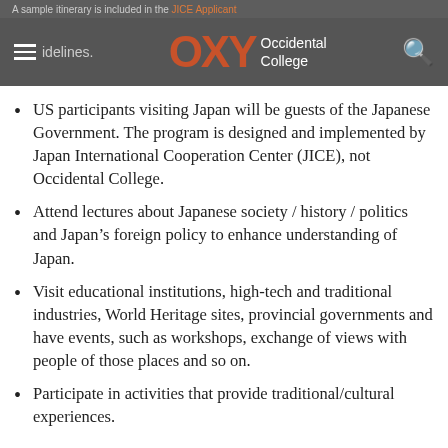A sample itinerary is included in the JICE Applicant Guidelines.
[Figure (logo): Occidental College (OXY) logo with hamburger menu and search icon on dark grey navigation bar]
US participants visiting Japan will be guests of the Japanese Government. The program is designed and implemented by Japan International Cooperation Center (JICE), not Occidental College.
Attend lectures about Japanese society / history / politics and Japan’s foreign policy to enhance understanding of Japan.
Visit educational institutions, high-tech and traditional industries, World Heritage sites, provincial governments and have events, such as workshops, exchange of views with people of those places and so on.
Participate in activities that provide traditional/cultural experiences.